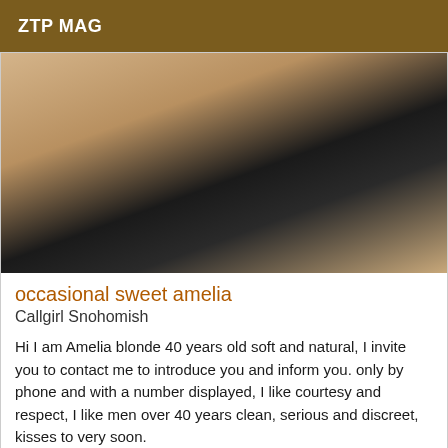ZTP MAG
[Figure (photo): Close-up photo of a person wearing black lace underwear and black shorts, kneeling on a light-colored floor with a wooden furniture piece visible in the background.]
occasional sweet amelia
Callgirl Snohomish
Hi I am Amelia blonde 40 years old soft and natural, I invite you to contact me to introduce you and inform you. only by phone and with a number displayed, I like courtesy and respect, I like men over 40 years clean, serious and discreet, kisses to very soon.
Online